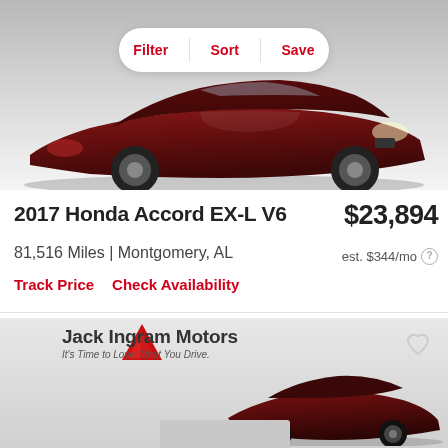[Figure (photo): Dark red Honda Accord sedan photographed at slight angle, shown against a light grey gradient background. A white rounded pill-shaped toolbar with Filter, Sort, Save buttons overlaid on top of the image.]
2017 Honda Accord EX-L V6
$23,894
81,516 Miles | Montgomery, AL
est. $344/mo
Track Price   Check Availability
[Figure (photo): Jack Ingram Motors dealership advertisement showing logo with red geometric icon, tagline 'It's Time to Love What You Drive', a dark red sedan car partially visible on the right side, and a heart/favorite icon in the top right corner. Bottom portion shows a grey placeholder bar.]